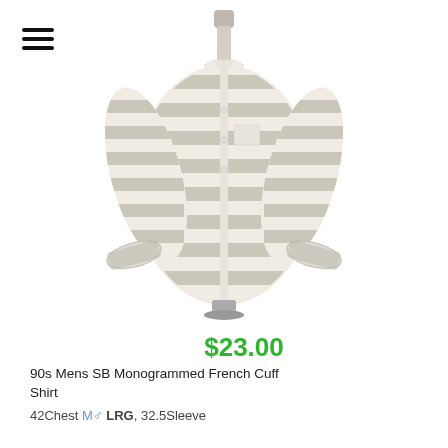[Figure (photo): A striped button-up shirt with French cuffs displayed on a mannequin. The shirt features horizontal grey and white stripes, a collar, and a chest pocket.]
$23.00
90s Mens SB Monogrammed French Cuff Shirt
42Chest M♂ LRG, 32.5Sleeve